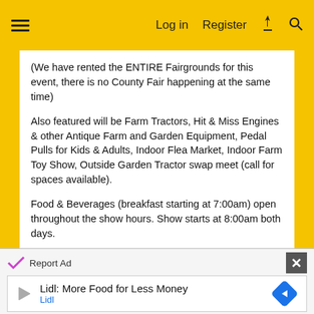Log in  Register
(We have rented the ENTIRE Fairgrounds for this event, there is no County Fair happening at the same time)
Also featured will be Farm Tractors, Hit & Miss Engines & other Antique Farm and Garden Equipment, Pedal Pulls for Kids & Adults, Indoor Flea Market, Indoor Farm Toy Show, Outside Garden Tractor swap meet (call for spaces available).
Food & Beverages (breakfast starting at 7:00am) open throughout the show hours. Show starts at 8:00am both days.
Plow Days
Report Ad  Lidl: More Food for Less Money  Lidl